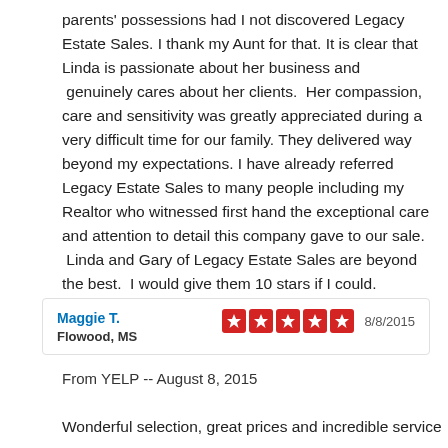parents' possessions had I not discovered Legacy Estate Sales. I thank my Aunt for that. It is clear that Linda is passionate about her business and  genuinely cares about her clients.  Her compassion, care and sensitivity was greatly appreciated during a very difficult time for our family. They delivered way beyond my expectations. I have already referred Legacy Estate Sales to many people including my Realtor who witnessed first hand the exceptional care and attention to detail this company gave to our sale.  Linda and Gary of Legacy Estate Sales are beyond the best.  I would give them 10 stars if I could.
Maggie T.
Flowood, MS
8/8/2015
From YELP -- August 8, 2015
Wonderful selection, great prices and incredible service